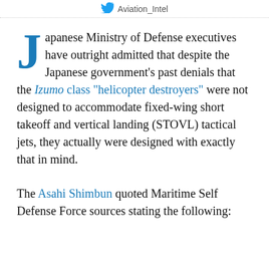Aviation_Intel
Japanese Ministry of Defense executives have outright admitted that despite the Japanese government's past denials that the Izumo class "helicopter destroyers" were not designed to accommodate fixed-wing short takeoff and vertical landing (STOVL) tactical jets, they actually were designed with exactly that in mind.
The Asahi Shimbun quoted Maritime Self Defense Force sources stating the following: